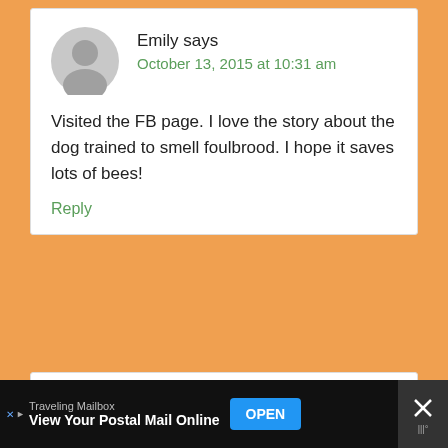[Figure (other): User avatar silhouette - gray circle with person outline]
Emily says
October 13, 2015 at 10:31 am
Visited the FB page. I love the story about the dog trained to smell foulbrood. I hope it saves lots of bees!
Reply
[Figure (other): User avatar silhouette - gray circle with person outline]
Emily says
October 13, 2015 at 10:34 am
Traveling Mailbox - View Your Postal Mail Online - OPEN (advertisement)